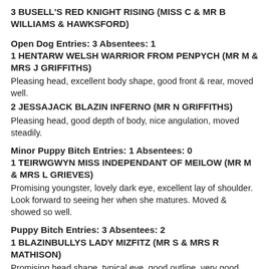3 BUSELL'S RED KNIGHT RISING (MISS C & MR B WILLIAMS & HAWKSFORD)
Open Dog Entries: 3 Absentees: 1
1 HENTARW WELSH WARRIOR FROM PENPYCH (MR M & MRS J GRIFFITHS)
Pleasing head, excellent body shape, good front & rear, moved well.
2 JESSAJACK BLAZIN INFERNO (MR N GRIFFITHS)
Pleasing head, good depth of body, nice angulation, moved steadily.
Minor Puppy Bitch Entries: 1 Absentees: 0
1 TEIRWGWYN MISS INDEPENDANT OF MEILOW (MR M & MRS L GRIEVES)
Promising youngster, lovely dark eye, excellent lay of shoulder. Look forward to seeing her when she matures. Moved & showed so well.
Puppy Bitch Entries: 3 Absentees: 2
1 BLAZINBULLYS LADY MIZFITZ (MR S & MRS R MATHISON)
Promising head shape, typical eye, good outline, very good bone, legs & feet. One for the notebook.